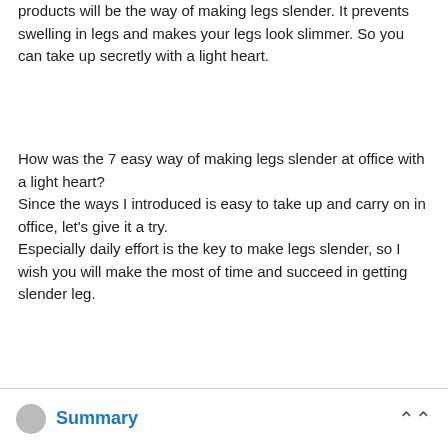products will be the way of making legs slender. It prevents swelling in legs and makes your legs look slimmer. So you can take up secretly with a light heart.
How was the 7 easy way of making legs slender at office with a light heart?
Since the ways I introduced is easy to take up and carry on in office, let's give it a try.
Especially daily effort is the key to make legs slender, so I wish you will make the most of time and succeed in getting slender leg.
Summary